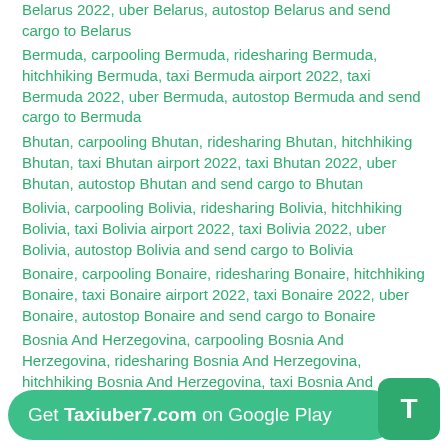Belarus 2022, uber Belarus, autostop Belarus and send cargo to Belarus
Bermuda, carpooling Bermuda, ridesharing Bermuda, hitchhiking Bermuda, taxi Bermuda airport 2022, taxi Bermuda 2022, uber Bermuda, autostop Bermuda and send cargo to Bermuda
Bhutan, carpooling Bhutan, ridesharing Bhutan, hitchhiking Bhutan, taxi Bhutan airport 2022, taxi Bhutan 2022, uber Bhutan, autostop Bhutan and send cargo to Bhutan
Bolivia, carpooling Bolivia, ridesharing Bolivia, hitchhiking Bolivia, taxi Bolivia airport 2022, taxi Bolivia 2022, uber Bolivia, autostop Bolivia and send cargo to Bolivia
Bonaire, carpooling Bonaire, ridesharing Bonaire, hitchhiking Bonaire, taxi Bonaire airport 2022, taxi Bonaire 2022, uber Bonaire, autostop Bonaire and send cargo to Bonaire
Bosnia And Herzegovina, carpooling Bosnia And Herzegovina, ridesharing Bosnia And Herzegovina, hitchhiking Bosnia And Herzegovina, taxi Bosnia And Herzegovina, taxi Bosnia And Herzegovina airport 2022, taxi Bosnia And Herzegovina 2022, uber Bosnia And Herzegovina and send cargo to
Get Taxiuber7.com on Google Play